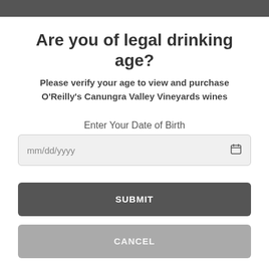Are you of legal drinking age?
Please verify your age to view and purchase O'Reilly's Canungra Valley Vineyards wines
Enter Your Date of Birth
mm/dd/yyyy
SUBMIT
CANCEL